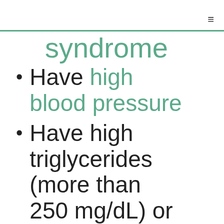syndrome (continuation of previous item)
Have high blood pressure
Have high triglycerides (more than 250 mg/dL) or lower (truncated)